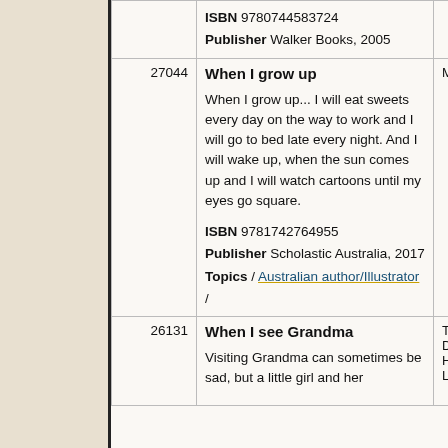| ID | Title / Description | Author |
| --- | --- | --- |
|  | ISBN 9780744583724
Publisher Walker Books, 2005 |  |
| 27044 | When I grow up

When I grow up... I will eat sweets every day on the way to work and I will go to bed late every night. And I will wake up, when the sun comes up and I will watch cartoons until my eyes go square.

ISBN 9781742764955
Publisher Scholastic Australia, 2017
Topics / Australian author/Illustrator / | Minch |
| 26131 | When I see Grandma

Visiting Grandma can sometimes be sad, but a little girl and her | Tidba
Debra
Hedst
Leigh |